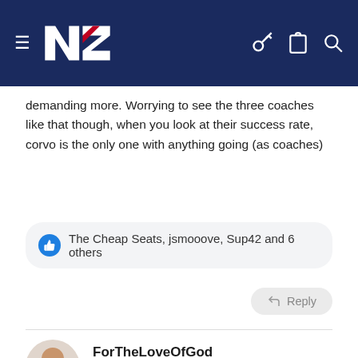NZ Warriors fan forum site header with navigation icons
demanding more. Worrying to see the three coaches like that though, when you look at their success rate, corvo is the only one with anything going (as coaches)
The Cheap Seats, jsmooove, Sup42 and 6 others
Reply
ForTheLoveOfGod
Feb 27, 2018
Totally underwhelming, american style ppv tv promo for sky tv to lift its